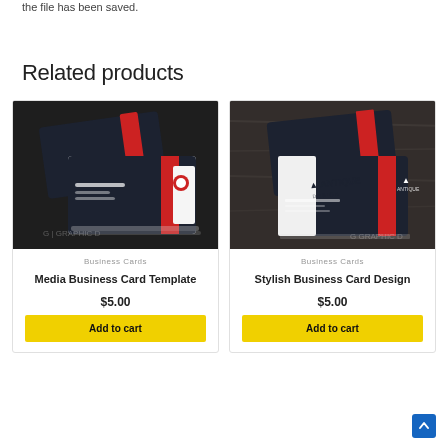the file has been saved.
Related products
[Figure (photo): Business card mockup showing dark navy/black cards with red accent stripe, white text area, stacked view on dark background. Watermark: GRAPHIC D]
Business Cards
Media Business Card Template
$5.00
Add to cart
[Figure (photo): Business card mockup showing dark navy/black cards with red accent stripe, 'ANTIQUE' branding, stacked on wooden surface. Watermark: G GRAPHIC D]
Business Cards
Stylish Business Card Design
$5.00
Add to cart